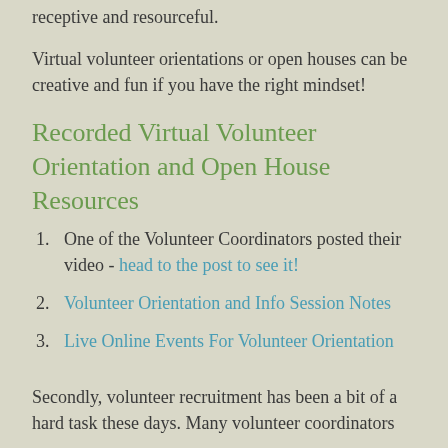receptive and resourceful.
Virtual volunteer orientations or open houses can be creative and fun if you have the right mindset!
Recorded Virtual Volunteer Orientation and Open House Resources
One of the Volunteer Coordinators posted their video - head to the post to see it!
Volunteer Orientation and Info Session Notes
Live Online Events For Volunteer Orientation
Secondly, volunteer recruitment has been a bit of a hard task these days. Many volunteer coordinators